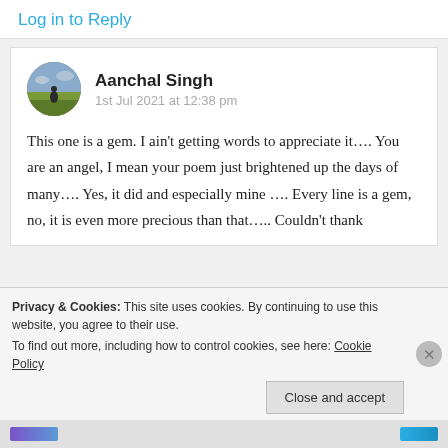Log in to Reply
Aanchal Singh
1st Jul 2021 at 12:38 pm
This one is a gem. I ain't getting words to appreciate it…. You are an angel, I mean your poem just brightened up the days of many…. Yes, it did and especially mine …. Every line is a gem, no, it is even more precious than that….. Couldn't thank
Privacy & Cookies: This site uses cookies. By continuing to use this website, you agree to their use.
To find out more, including how to control cookies, see here: Cookie Policy
Close and accept